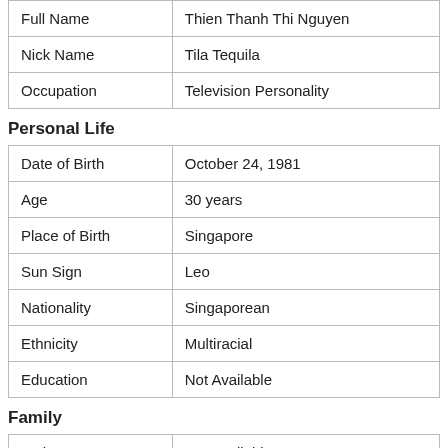| Full Name | Thien Thanh Thi Nguyen |
| Nick Name | Tila Tequila |
| Occupation | Television Personality |
Personal Life
| Date of Birth | October 24, 1981 |
| Age | 30 years |
| Place of Birth | Singapore |
| Sun Sign | Leo |
| Nationality | Singaporean |
| Ethnicity | Multiracial |
| Education | Not Available |
Family
| Father Name | Not Available |
| Mother Name | Not Available |